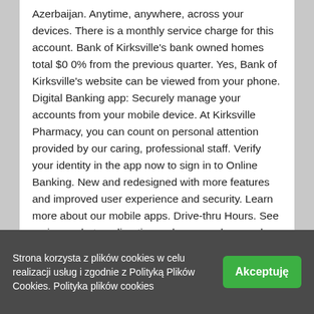Azerbaijan. Anytime, anywhere, across your devices. There is a monthly service charge for this account. Bank of Kirksville's bank owned homes total $0 0% from the previous quarter. Yes, Bank of Kirksville's website can be viewed from your phone. Digital Banking app: Securely manage your accounts from your mobile device. At Kirksville Pharmacy, you can count on personal attention provided by our caring, professional staff. Verify your identity in the app now to sign in to Online Banking. New and redesigned with more features and improved user experience and security. Learn more about our mobile apps. Drive-thru Hours. See reviews, photos, directions, phone numbers and more for Bank Of Kirksville locations in Kirksville, MO. Please click here for additional resources and lender contact information . We offer a wide variety of services including conventional prescription filling, medicine-on-time, immunizations,
Strona korzysta z plików cookies w celu realizacji usług i zgodnie z Polityką Plików Cookies. Polityka plików cookies